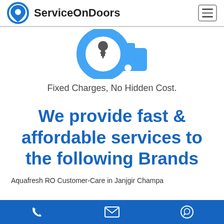ServiceOnDoors
[Figure (illustration): Blue circular icon with a pin/location marker and a thumbs-up symbol, representing service features]
Fixed Charges, No Hidden Cost.
We provide fast & affordable services to the following Brands
Aquafresh RO Customer-Care in Janjgir Champa
Phone | Email | WhatsApp contact icons